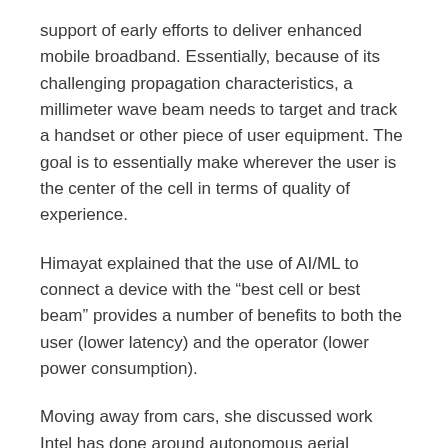support of early efforts to deliver enhanced mobile broadband. Essentially, because of its challenging propagation characteristics, a millimeter wave beam needs to target and track a handset or other piece of user equipment. The goal is to essentially make wherever the user is the center of the cell in terms of quality of experience.
Himayat explained that the use of AI/ML to connect a device with the “best cell or best beam” provides a number of benefits to both the user (lower latency) and the operator (lower power consumption).
Moving away from cars, she discussed work Intel has done around autonomous aerial vehicles.
“There are some challenges you have to address.